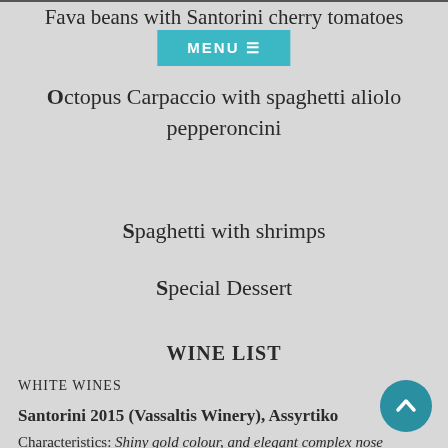Fava beans with Santorini cherry tomatoes
MENU ☰
Octopus Carpaccio with spaghetti aliolo pepperoncini
Spaghetti with shrimps
Special Dessert
WINE LIST
WHITE WINES
Santorini 2015 (Vassaltis Winery), Assyrtiko
Characteristics: Shiny gold colour, and elegant complex nose aromas, such as green apple, peach, mint. Strict mineral character with oily hints and salty after